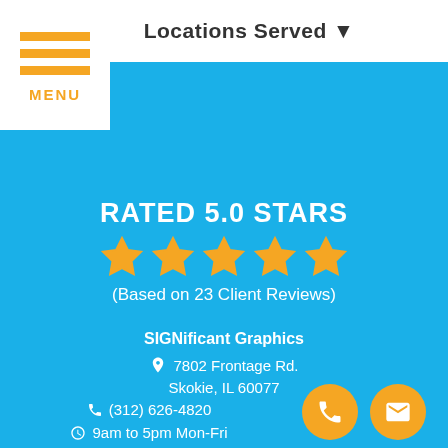Locations Served ▼
[Figure (infographic): Hamburger menu icon with three orange horizontal lines and MENU label below]
RATED 5.0 STARS
[Figure (infographic): Five gold/orange star rating icons]
(Based on 23 Client Reviews)
SIGNificant Graphics
7802 Frontage Rd.
Skokie, IL 60077
(312) 626-4820
9am to 5pm Mon-Fri